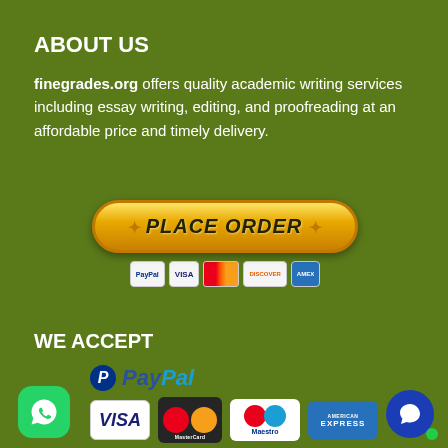ABOUT US
finegrades.org offers quality academic writing services including essay writing, editing, and proofreading at an affordable price and timely delivery.
[Figure (infographic): Yellow PLACE ORDER button with payment icons below (PayPal, Visa, MasterCard, Discover, Amex)]
WE ACCEPT
[Figure (infographic): Payment logos: PayPal, Visa, MasterCard, Maestro, American Express, WhatsApp icon, chat bubble icon]